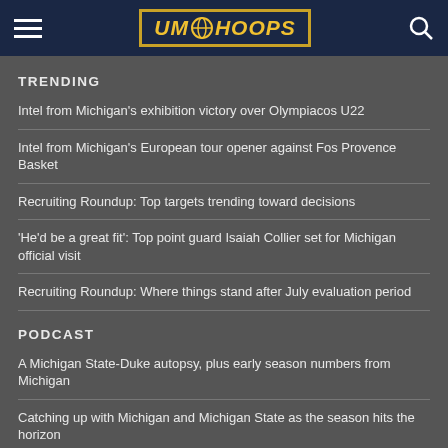UM Hoops
TRENDING
Intel from Michigan's exhibition victory over Olympiacos U22
Intel from Michigan's European tour opener against Fos Provence Basket
Recruiting Roundup: Top targets trending toward decisions
'He'd be a great fit': Top point guard Isaiah Collier set for Michigan official visit
Recruiting Roundup: Where things stand after July evaluation period
PODCAST
A Michigan State-Duke autopsy, plus early season numbers from Michigan
Catching up with Michigan and Michigan State as the season hits the horizon